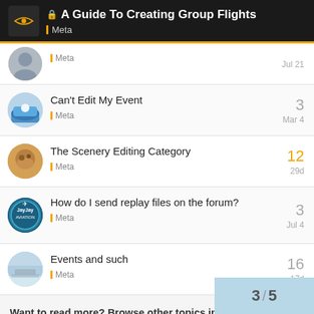A Guide To Creating Group Flights — Meta
Meta — Jul 21
Can't Edit My Event — Meta — Mar 4 — replies: 3
The Scenery Editing Category — Meta — 29d — replies: 12
How do I send replay files on the forum? — Meta — Jul 4 — replies: 3
Events and such — Meta — 17d — replies: 16
Want to read more? Browse other topics in Meta or view latest topics.
3 / 5